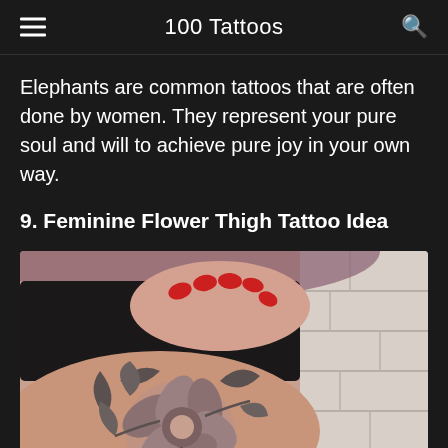100 Tattoos
Elephants are common tattoos that are often done by women. They represent your pure soul and will to achieve pure joy in your own way.
9. Feminine Flower Thigh Tattoo Idea
[Figure (photo): Close-up photo of a person's thigh with a detailed floral tattoo featuring large flowers and leaves in black and gray ink. A hand with red painted nails is visible at the top of the image. White brick wall visible in background.]